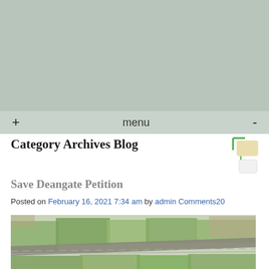[Figure (map): Interactive map area shown in muted green-grey tones with zoom controls (+, menu, -)]
Category Archives Blog
Save Deangate Petition
Posted on February 16, 2021 7:34 am by admin Comments20
[Figure (photo): Aerial photograph of Deangate area showing fields, roads including a motorway, and surrounding residential areas]